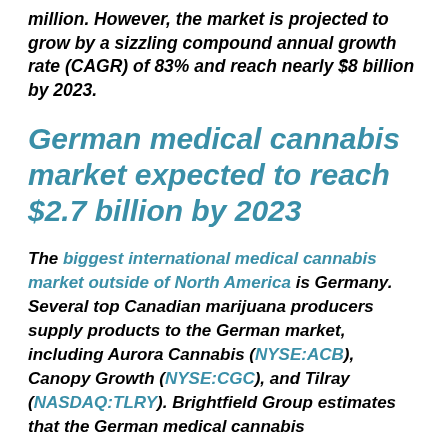million. However, the market is projected to grow by a sizzling compound annual growth rate (CAGR) of 83% and reach nearly $8 billion by 2023.
German medical cannabis market expected to reach $2.7 billion by 2023
The biggest international medical cannabis market outside of North America is Germany. Several top Canadian marijuana producers supply products to the German market, including Aurora Cannabis (NYSE:ACB), Canopy Growth (NYSE:CGC), and Tilray (NASDAQ:TLRY). Brightfield Group estimates that the German medical cannabis